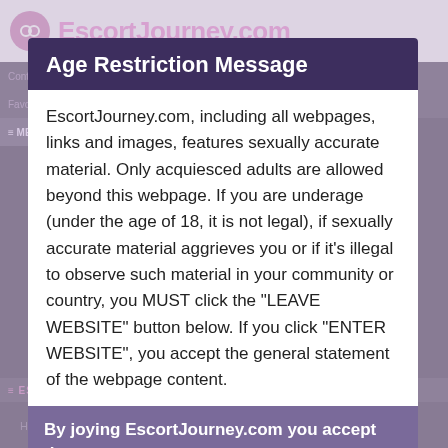EscortJourney.com
Age Restriction Message
EscortJourney.com, including all webpages, links and images, features sexually accurate material. Only acquiesced adults are allowed beyond this webpage. If you are underage (under the age of 18, it is not legal), if sexually accurate material aggrieves you or if it's illegal to observe such material in your community or country, you MUST click the “LEAVE WEBSITE” button below. If you click “ENTER WEBSITE”, you accept the general statement of the webpage content.
By joying EscortJourney.com you accept that:
You are an adult in your community/country and